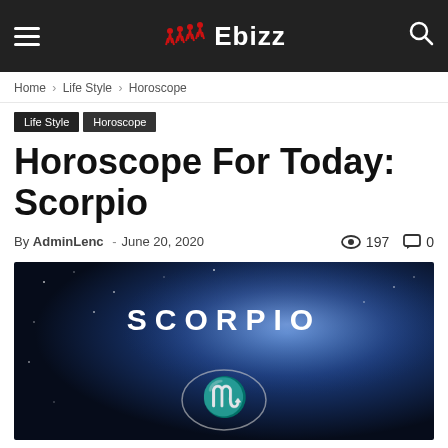Ebizz
Home › Life Style › Horoscope
Life Style  Horoscope
Horoscope For Today: Scorpio
By AdminLenc - June 20, 2020  197  0
[Figure (photo): Scorpio horoscope image with dark blue cosmic background, showing 'SCORPIO' text and a Scorpio zodiac symbol (m) in a circle]